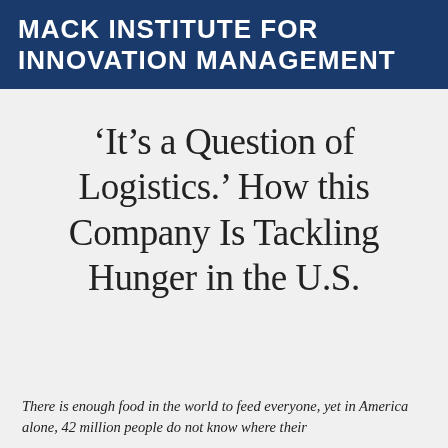MACK INSTITUTE FOR INNOVATION MANAGEMENT
‘It’s a Question of Logistics.’ How this Company Is Tackling Hunger in the U.S.
There is enough food in the world to feed everyone, yet in America alone, 42 million people do not know where their